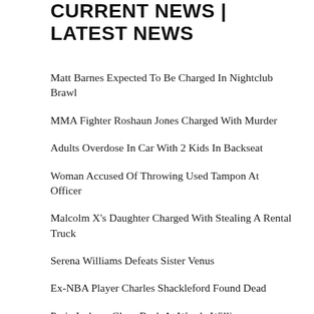CURRENT NEWS | LATEST NEWS
Matt Barnes Expected To Be Charged In Nightclub Brawl
MMA Fighter Roshaun Jones Charged With Murder
Adults Overdose In Car With 2 Kids In Backseat
Woman Accused Of Throwing Used Tampon At Officer
Malcolm X's Daughter Charged With Stealing A Rental Truck
Serena Williams Defeats Sister Venus
Ex-NBA Player Charles Shackleford Found Dead
Paris Jackson Claps Back At Wendy Williams
Woman Who Caused Emmett Till's Death Admits To